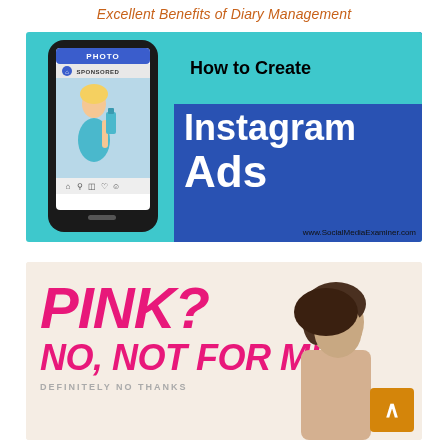Excellent Benefits of Diary Management
[Figure (infographic): Promotional infographic for 'How to Create Instagram Ads' from SocialMediaExaminer.com. Left side shows a smartphone illustration with a sponsored post on screen showing a woman holding a spray bottle. Right side has dark blue background with text 'How to Create Instagram Ads'. Website URL: www.SocialMediaExaminer.com]
[Figure (photo): Advertisement image with large pink italic text reading 'PINK? NO, NOT FOR ME.' with a person visible on the right side. Small text below reads 'DEFINITELY NO THANKS' or similar. White/cream background.]